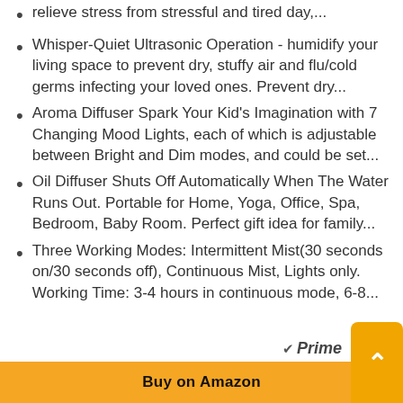relieve stress from stressful and tired day,...
Whisper-Quiet Ultrasonic Operation - humidify your living space to prevent dry, stuffy air and flu/cold germs infecting your loved ones. Prevent dry...
Aroma Diffuser Spark Your Kid's Imagination with 7 Changing Mood Lights, each of which is adjustable between Bright and Dim modes, and could be set...
Oil Diffuser Shuts Off Automatically When The Water Runs Out. Portable for Home, Yoga, Office, Spa, Bedroom, Baby Room. Perfect gift idea for family...
Three Working Modes: Intermittent Mist(30 seconds on/30 seconds off), Continuous Mist, Lights only. Working Time: 3-4 hours in continuous mode, 6-8...
Prime  Buy on Amazon